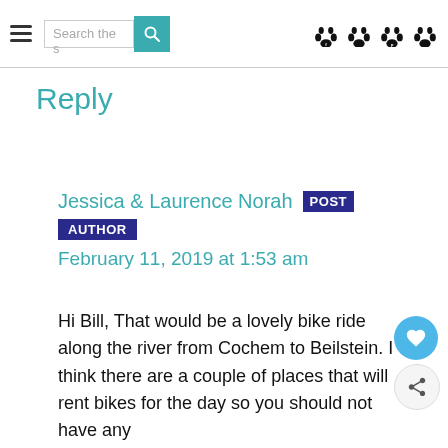Search the s [search button] [paw icons]
Reply
Jessica & Laurence Norah POST AUTHOR February 11, 2019 at 1:53 am
Hi Bill, That would be a lovely bike ride along the river from Cochem to Beilstein. I think there are a couple of places that will rent bikes for the day so you should not have any